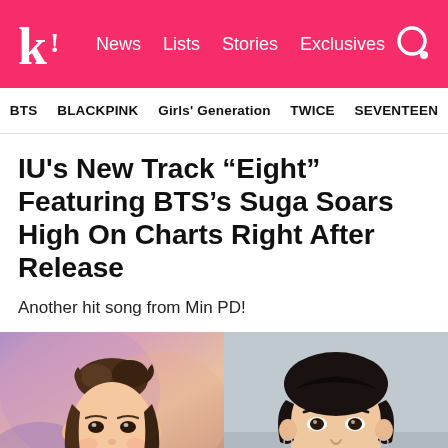k! News Lists Stories Exclusives
BTS  BLACKPINK  Girls' Generation  TWICE  SEVENTEEN
IU's New Track “Eight” Featuring BTS’s Suga Soars High On Charts Right After Release
Another hit song from Min PD!
[Figure (photo): Side-by-side image: left side shows an illustrated/animated portrait of IU (a young woman with hair up, soft features, illustrated art style), right side shows a real photograph of BTS's Suga (young man with dark hair, smiling, wearing earring).]